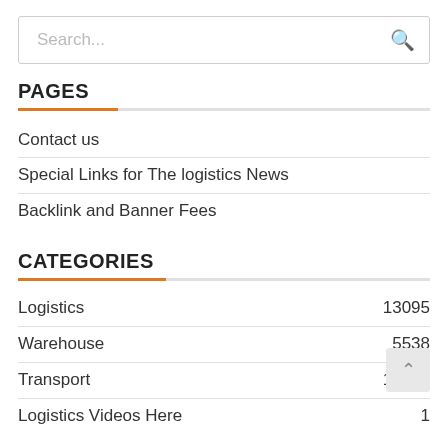[Figure (screenshot): Search input box with placeholder text 'Search...' and a magnifying glass icon on the right]
PAGES
Contact us
Special Links for The logistics News
Backlink and Banner Fees
CATEGORIES
Logistics 13095
Warehouse 5538
Transport 16169
Logistics Videos Here 1